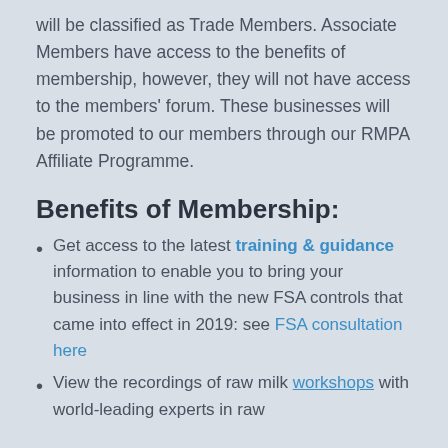will be classified as Trade Members. Associate Members have access to the benefits of membership, however, they will not have access to the members' forum. These businesses will be promoted to our members through our RMPA Affiliate Programme.
Benefits of Membership:
Get access to the latest training & guidance information to enable you to bring your business in line with the new FSA controls that came into effect in 2019: see FSA consultation here
View the recordings of raw milk workshops with world-leading experts in raw